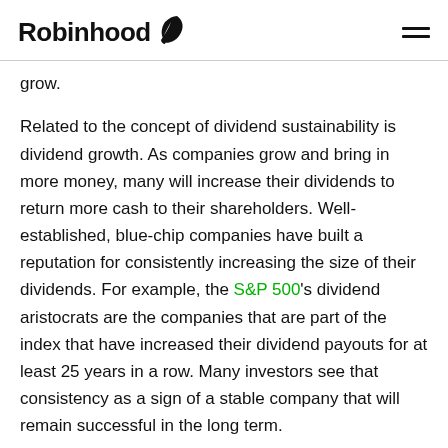Robinhood
grow.
Related to the concept of dividend sustainability is dividend growth. As companies grow and bring in more money, many will increase their dividends to return more cash to their shareholders. Well-established, blue-chip companies have built a reputation for consistently increasing the size of their dividends. For example, the S&P 500's dividend aristocrats are the companies that are part of the index that have increased their dividend payouts for at least 25 years in a row. Many investors see that consistency as a sign of a stable company that will remain successful in the long term.
If a company hopes to join the ranks of dividend aristocrats or hopes to increase its dividends regularly,